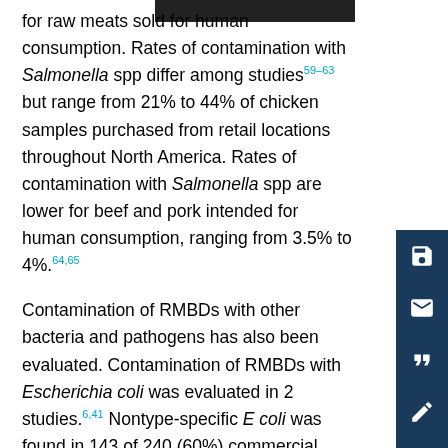for raw meats sold for human consumption. Rates of contamination with Salmonella spp differ among studies59-63 but range from 21% to 44% of chicken samples purchased from retail locations throughout North America. Rates of contamination with Salmonella spp are lower for beef and pork intended for human consumption, ranging from 3.5% to 4%.64,65
Contamination of RMBDs with other bacteria and pathogens has also been evaluated. Contamination of RMBDs with Escherichia coli was evaluated in 2 studies.6,41 Nontype-specific E coli was found in 143 of 240 (60%) commercial RMBDs but in only 8 of 24 (33%) commercial dry extruded diets and 2 of 24 (8%) commercial cooked moist diets.6 A 2001 study41 revealed